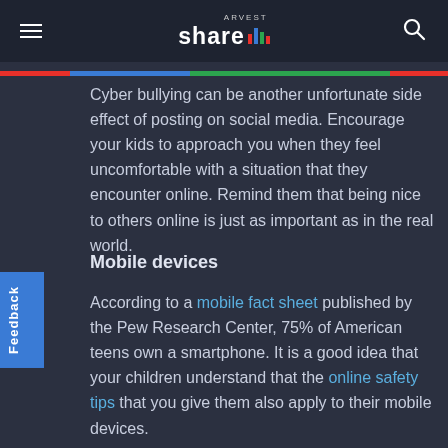Arvest Share
Cyber bullying can be another unfortunate side effect of posting on social media. Encourage your kids to approach you when they feel uncomfortable with a situation that they encounter online. Remind them that being nice to others online is just as important as in the real world.
Mobile devices
According to a mobile fact sheet published by the Pew Research Center, 75% of American teens own a smartphone. It is a good idea that your children understand that the online safety tips that you give them also apply to their mobile devices.